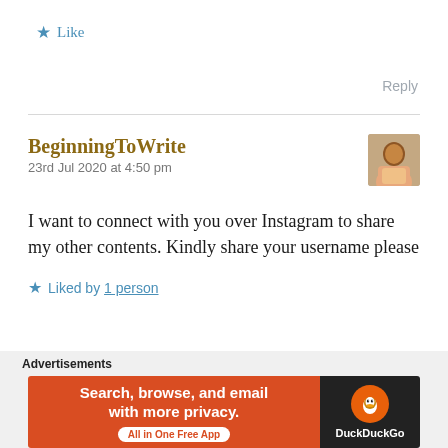★ Like
Reply
BeginningToWrite
23rd Jul 2020 at 4:50 pm
I want to connect with you over Instagram to share my other contents. Kindly share your username please
★ Liked by 1 person
Reply
Advertisements
[Figure (screenshot): DuckDuckGo advertisement banner: orange left panel with text 'Search, browse, and email with more privacy.' and 'All in One Free App' badge, dark right panel with DuckDuckGo duck logo and brand name]